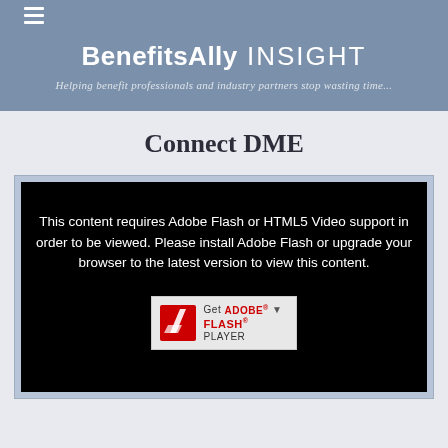BenefitsAlly INSIGHT — Helping benefit professionals and industry partners stop wasting time...
Connect DME
[Figure (screenshot): Black video player placeholder showing Adobe Flash / HTML5 video not supported message, with 'Get Adobe Flash Player' button]